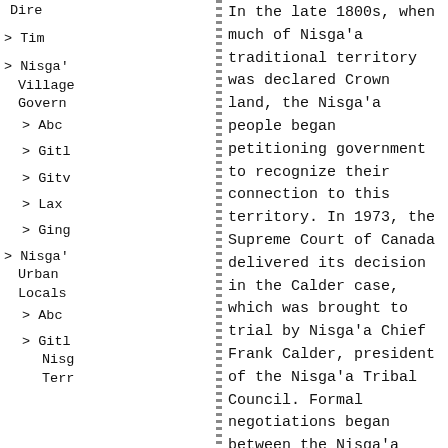Dire
> Tim
> Nisga'a Village Govern
> Abc
> Gitl
> Gitv
> Lax
> Ging
> Nisga'a Urban Locals
> Abc
> Gitl Nisg Terr
In the late 1800s, when much of Nisga'a traditional territory was declared Crown land, the Nisga'a people began petitioning government to recognize their connection to this territory. In 1973, the Supreme Court of Canada delivered its decision in the Calder case, which was brought to trial by Nisga'a Chief Frank Calder, president of the Nisga'a Tribal Council. Formal negotiations began between the Nisga'a Tribal Council and Canada in 1976. In 1990, the government of British Columbia joined the negotiations to establish a tripartite process. On August 4, 1998, an initialling ceremony celebration